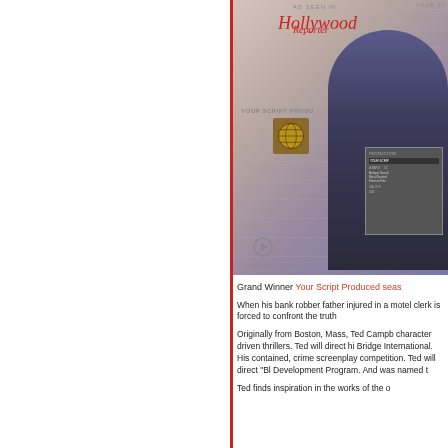[Figure (photo): Man in black suit holding award plaque standing in front of Hollywood Reporter branded backdrop with Your Script Produced logo and filmfestivals.com branding]
Grand Winner Your Script Produced seas
When his bank robber father injured in a motel clerk is forced to confront the truth
Originally from Boston, Mass, Ted Campb character driven thrillers. Ted will direct hi Bridge International. His contained, crime screenplay competition. Ted will direct "Bl Development Program. And was named t
Ted finds inspiration in the works of the o